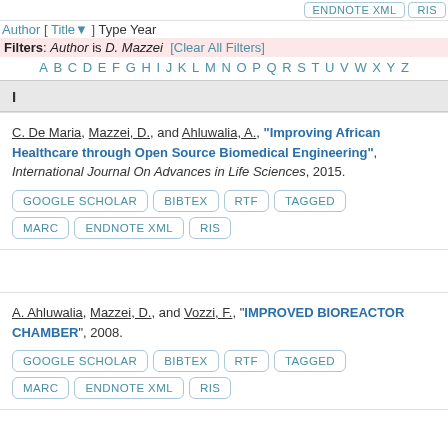ENDNOTE XML   RIS
Author [ Title▼ ] Type Year
Filters: Author is D. Mazzei   [Clear All Filters]
A B C D E F G H I J K L M N O P Q R S T U V W X Y Z
I
C. De Maria, Mazzei, D., and Ahluwalia, A., "Improving African Healthcare through Open Source Biomedical Engineering", International Journal On Advances in Life Sciences, 2015.
GOOGLE SCHOLAR
BIBTEX
RTF
TAGGED
MARC
ENDNOTE XML
RIS
A. Ahluwalia, Mazzei, D., and Vozzi, F., "IMPROVED BIOREACTOR CHAMBER", 2008.
GOOGLE SCHOLAR
BIBTEX
RTF
TAGGED
MARC
ENDNOTE XML
RIS